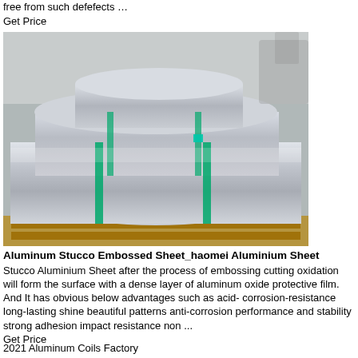free from such defefects …
Get Price
[Figure (photo): Large aluminum rolls/coils stacked on a wooden pallet in an industrial warehouse, bound with green straps.]
Aluminum Stucco Embossed Sheet_haomei Aluminium Sheet
Stucco Aluminium Sheet after the process of embossing cutting oxidation will form the surface with a dense layer of aluminum oxide protective film. And It has obvious below advantages such as acid-corrosion-resistance long-lasting shine beautiful patterns anti-corrosion performance and stability strong adhesion impact resistance non ...
Get Price
2021 Aluminum Coils Factory